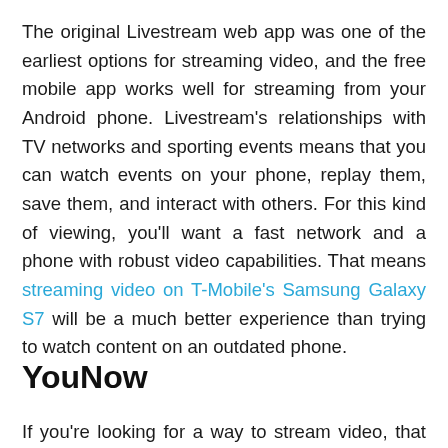The original Livestream web app was one of the earliest options for streaming video, and the free mobile app works well for streaming from your Android phone. Livestream's relationships with TV networks and sporting events means that you can watch events on your phone, replay them, save them, and interact with others. For this kind of viewing, you'll want a fast network and a phone with robust video capabilities. That means streaming video on T-Mobile's Samsung Galaxy S7 will be a much better experience than trying to watch content on an outdated phone.
YouNow
If you're looking for a way to stream video, that means...